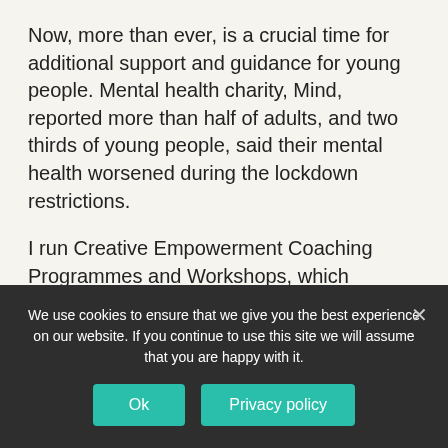Now, more than ever, is a crucial time for additional support and guidance for young people. Mental health charity, Mind, reported more than half of adults, and two thirds of young people, said their mental health worsened during the lockdown restrictions.
I run Creative Empowerment Coaching Programmes and Workshops, which empowers individuals to develop their own resilient tool kit in order to confidently pursue a career within the creative industry.
My aim is to outreach to as many as can benefit
We use cookies to ensure that we give you the best experience on our website. If you continue to use this site we will assume that you are happy with it.